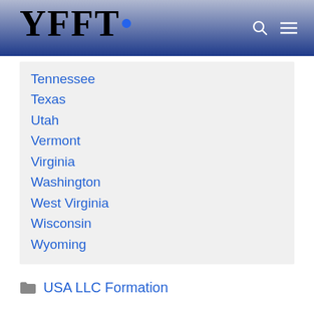YFFT
Tennessee
Texas
Utah
Vermont
Virginia
Washington
West Virginia
Wisconsin
Wyoming
USA LLC Formation